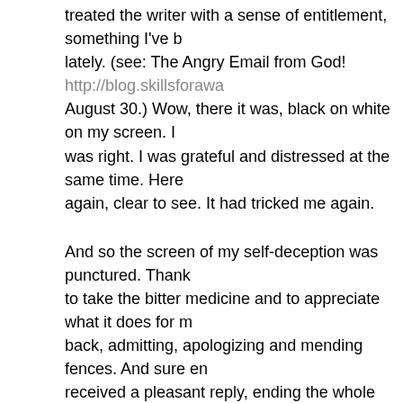treated the writer with a sense of entitlement, something I've b lately. (see: The Angry Email from God! http://blog.skillsforawa August 30.) Wow, there it was, black on white on my screen. I was right. I was grateful and distressed at the same time. Here again, clear to see. It had tricked me again.
And so the screen of my self-deception was punctured. Thank to take the bitter medicine and to appreciate what it does for m back, admitting, apologizing and mending fences. And sure en received a pleasant reply, ending the whole drama. Thanks!
We have no choice in the way we act as long as we are in the Of course, once we find out the mind may want to break into s I was able to stop this old impulse. It's such a waste of time. I r So I looked at my past behavior with the intention to see it clea This way I can become more aware and free not to repeat it.